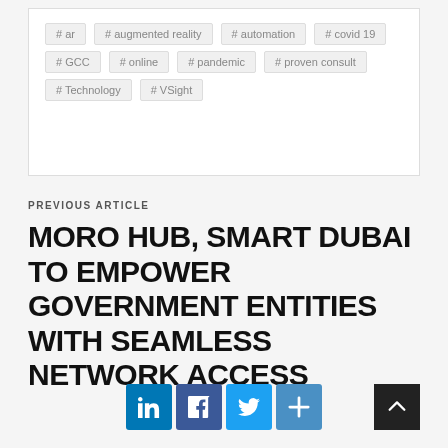#ar
#augmented reality
#automation
#covid 19
#GCC
#online
#pandemic
#proven consult
#Technology
#VSight
PREVIOUS ARTICLE
MORO HUB, SMART DUBAI TO EMPOWER GOVERNMENT ENTITIES WITH SEAMLESS NETWORK ACCESS